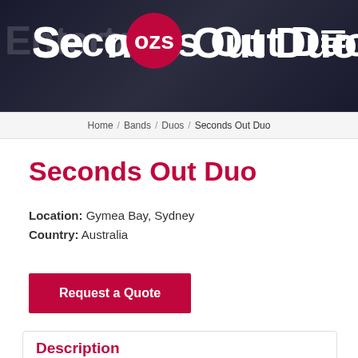EntertainOzs Out Duo
Home / Bands / Duos / Seconds Out Duo
Seconds Out Duo
Location: Gymea Bay, Sydney
Country: Australia
Request a Quote
Description
Seconds Out is an exciting Duo featuring  piano/keyboards and Saxophone/guitar. Seconds Out covers many favourite hits especially in the 60s and 70s, and including Ro...